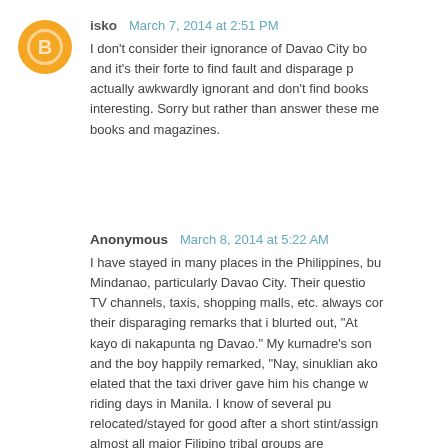isko   March 7, 2014 at 2:51 PM
I don't consider their ignorance of Davao City bo and it's their forte to find fault and disparage p actually awkwardly ignorant and don't find books interesting. Sorry but rather than answer these me books and magazines.
Anonymous   March 8, 2014 at 5:22 AM
I have stayed in many places in the Philippines, bu Mindanao, particularly Davao City. Their questio TV channels, taxis, shopping malls, etc. always cor their disparaging remarks that i blurted out, "At kayo di nakapunta ng Davao." My kumadre's son and the boy happily remarked, "Nay, sinuklian ako elated that the taxi driver gave him his change w riding days in Manila. I know of several pu relocated/stayed for good after a short stint/assign almost all major Filipino tribal groups are Batanguenos, Pampangos, Ilokano, thus, several working abroad, when they retire, will go back to D